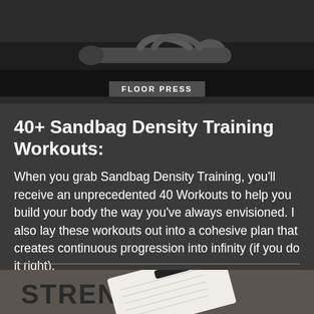[Figure (photo): A person doing a floor press exercise, lying on the ground. A label overlay reads 'FLOOR PRESS'.]
40+ Sandbag Density Training Workouts:
When you grab Sandbag Density Training, you'll receive an unprecedented 40 Workouts to help you build your body the way you've always envisioned. I also lay these workouts out into a cohesive plan that creates continuous progression into infinity (if you do it right).
[Figure (photo): A workout program/notebook sheet photographed in front of a wall with 'STRENGTH' text visible. The notebook appears to have workout schedules or tables written on it.]